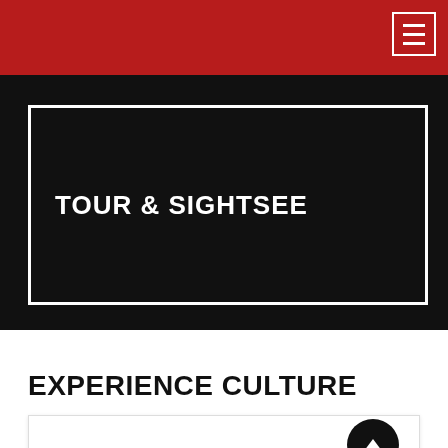TOUR & SIGHTSEE
EXPERIENCE CULTURE
[Figure (screenshot): Card or image carousel area at bottom of page with an up-arrow navigation button]